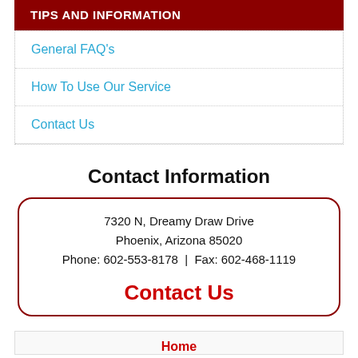TIPS AND INFORMATION
General FAQ's
How To Use Our Service
Contact Us
Contact Information
7320 N, Dreamy Draw Drive
Phoenix, Arizona 85020
Phone: 602-553-8178  |  Fax: 602-468-1119
Contact Us
Home